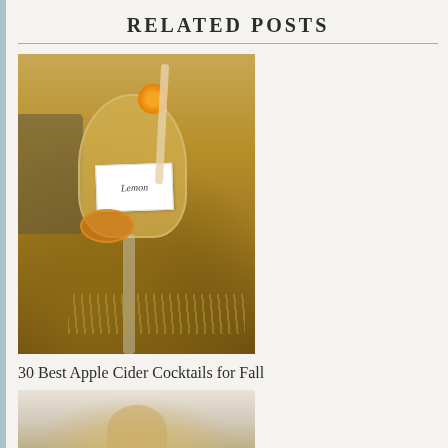RELATED POSTS
[Figure (photo): A champagne flute filled with golden apple cider cocktail, garnished with a marigold flower, orange slice, and a small handwritten place card, set on a rustic wooden table with hay and baked goods in background]
30 Best Apple Cider Cocktails for Fall
[Figure (photo): Partial view of a second related post photo, showing a light-colored beverage or food item, partially cropped at bottom of page]